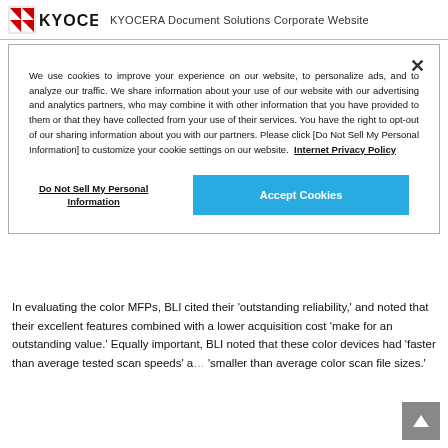KYOCERA Document Solutions Corporate Website
We use cookies to improve your experience on our website, to personalize ads, and to analyze our traffic. We share information about your use of our website with our advertising and analytics partners, who may combine it with other information that you have provided to them or that they have collected from your use of their services. You have the right to opt-out of our sharing information about you with our partners. Please click [Do Not Sell My Personal Information] to customize your cookie settings on our website. Internet Privacy Policy
Do Not Sell My Personal Information
Accept Cookies
In evaluating the color MFPs, BLI cited their 'outstanding reliability,' and noted that their excellent features combined with a lower acquisition cost 'make for an outstanding value.' Equally important, BLI noted that these color devices had 'faster than average tested scan speeds' and 'smaller than average color scan file sizes.'